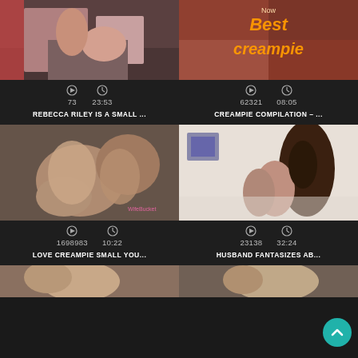[Figure (screenshot): Video thumbnail grid showing adult video content listings with thumbnails, play counts, durations, and titles. Top-left: 73 views, 23:53, REBECCA RILEY IS A SMALL... Top-right: 62321 views, 08:05, CREAMPIE COMPILATION -... Bottom-left: 1698983 views, 10:22, LOVE CREAMPIE SMALL YOU... Bottom-right: 23138 views, 32:24, HUSBAND FANTASIZES AB... Partial row at bottom. Teal back-to-top button bottom right.]